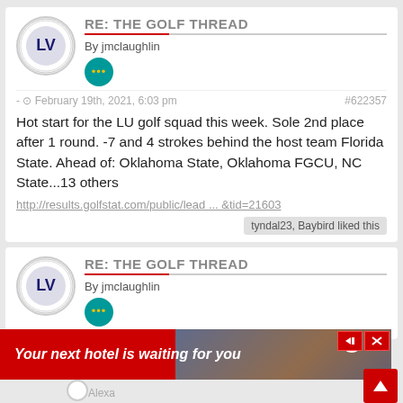RE: THE GOLF THREAD
By jmclaughlin
- February 19th, 2021, 6:03 pm  #622357
Hot start for the LU golf squad this week. Sole 2nd place after 1 round. -7 and 4 strokes behind the host team Florida State. Ahead of: Oklahoma State, Oklahoma FGCU, NC State...13 others
http://results.golfstat.com/public/lead ... &tid=21603
tyndal23, Baybird liked this
RE: THE GOLF THREAD
By jmclaughlin
Your next hotel is waiting for you